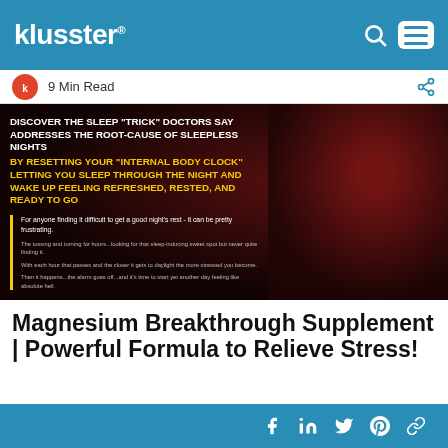klusster® [search icon] [menu icon]
9 Min Read
[Figure (infographic): Dark red/black background advertisement image with bold headline text: 'DISCOVER THE SLEEP "TRICK" DOCTORS SAY ADDRESSES THE ROOT-CAUSE OF SLEEPLESS NIGHTS BY RESETTING YOUR "INTERNAL BODY CLOCK" LETTING YOU SLEEP THROUGH THE NIGHT AND WAKE UP FEELING REFRESHED, RESTED, AND READY TO GO'. Smaller quote text below: 'For anyone finding it difficult to get a good night's rest - it can be pretty frustrating. The tossing and turning for hours...looking for that sleep-inducing sweet spot but never quite finding it. With each hour that passes and the closer it gets to daylight the more stressed you become. Then it happens...the alarm goes off...and it's time to start yet another day feeling like absolute hell.']
Magnesium Breakthrough Supplement | Powerful Formula to Relieve Stress!
[Facebook] [LinkedIn] [Twitter] [Pinterest] [Link]